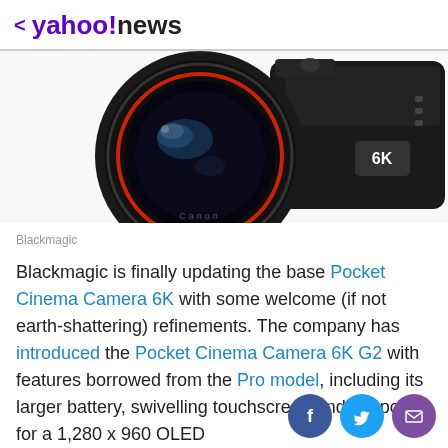< yahoo!news
[Figure (photo): Blackmagic Pocket Cinema Camera 6K with large lens, showing 6K badge on camera body, against white background, photographed from front-left angle]
Blackmagic
Blackmagic is finally updating the base Pocket Cinema Camera 6K with some welcome (if not earth-shattering) refinements. The company has introduced the Pocket Cinema Camera 6K G2 with features borrowed from the Pro model, including its larger battery, swivelling touchscreen and support for a 1,280 x 960 OLED